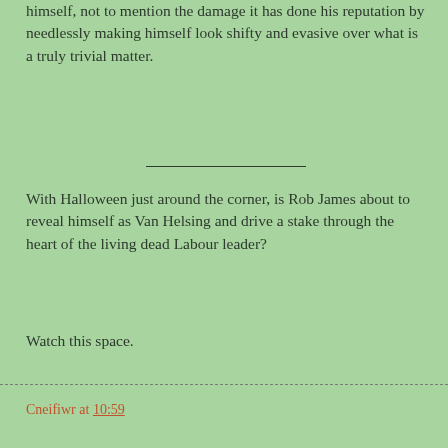himself, not to mention the damage it has done his reputation by needlessly making himself look shifty and evasive over what is a truly trivial matter.
With Halloween just around the corner, is Rob James about to reveal himself as Van Helsing and drive a stake through the heart of the living dead Labour leader?
Watch this space.
Cneifiwr at 10:59